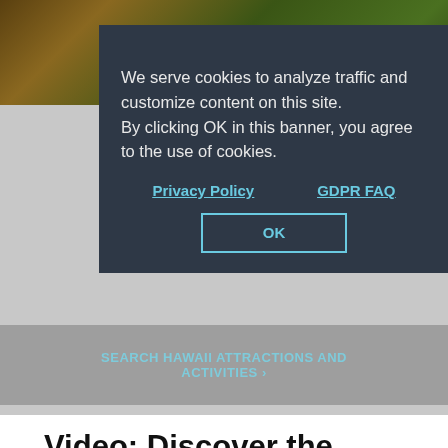[Figure (screenshot): Website screenshot showing a cookie consent modal overlay on a Hawaiian tourism website. The modal has a dark navy background with white text about cookies. Below is a search bar area and page content.]
We serve cookies to analyze traffic and customize content on this site. By clicking OK in this banner, you agree to the use of cookies.
Privacy Policy    GDPR FAQ
SEARCH HAWAII ATTRACTIONS AND ACTIVITIES ›
OK
Video: Discover the Hawaiian Islands
Dream It. Do it.
Make the most of your Hawaiian vacation with our FREE Official Visitors' Guide.